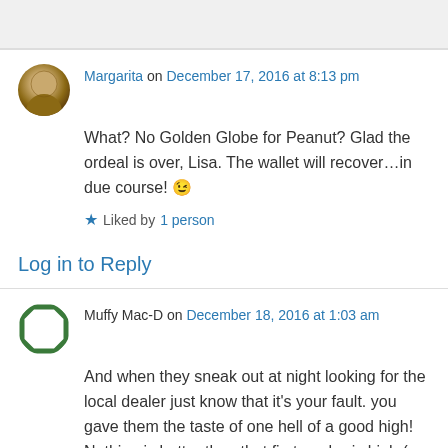Margarita on December 17, 2016 at 8:13 pm
What? No Golden Globe for Peanut? Glad the ordeal is over, Lisa. The wallet will recover…in due course! 😉
Liked by 1 person
Log in to Reply
Muffy Mac-D on December 18, 2016 at 1:03 am
And when they sneak out at night looking for the local dealer just know that it's your fault. you gave them the taste of one hell of a good high! Nothing is better than that first euphoric high ( so